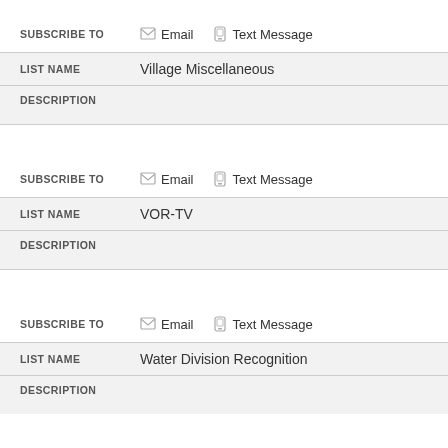| Field | Value |
| --- | --- |
| SUBSCRIBE TO | Email | Text Message |
| LIST NAME | Village Miscellaneous |
| DESCRIPTION |  |
| SUBSCRIBE TO | Email | Text Message |
| LIST NAME | VOR-TV |
| DESCRIPTION |  |
| SUBSCRIBE TO | Email | Text Message |
| LIST NAME | Water Division Recognition |
| DESCRIPTION |  |